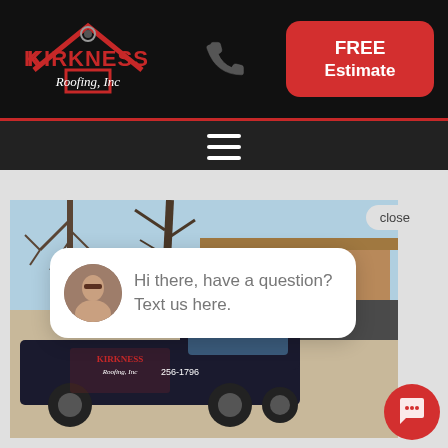[Figure (logo): Kirkness Roofing Inc logo - red house outline with company name in red and white on black background]
FREE Estimate
[Figure (screenshot): Navigation bar with hamburger menu icon on dark background]
[Figure (photo): Photo of Kirkness Roofing Inc branded pickup truck parked in front of a house with bare winter trees]
close
Hi there, have a question? Text us here.